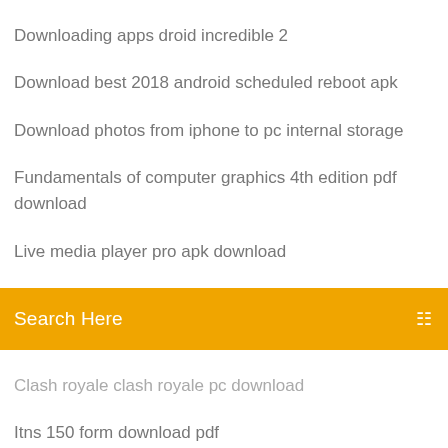Downloading apps droid incredible 2
Download best 2018 android scheduled reboot apk
Download photos from iphone to pc internal storage
Fundamentals of computer graphics 4th edition pdf download
Live media player pro apk download
[Figure (other): Orange search bar with text 'Search Here' and a search icon on the right]
Clash royale clash royale pc download
Itns 150 form download pdf
Iphone app download website
Sm-327p lollipop firmware download torrent
Baiduroot apk download 2018
Vidmate music download app
Android is downloading old files
Download phone transfer app free
Download starred files dropbox
Canon printers drivers download
Download latest version of dashland